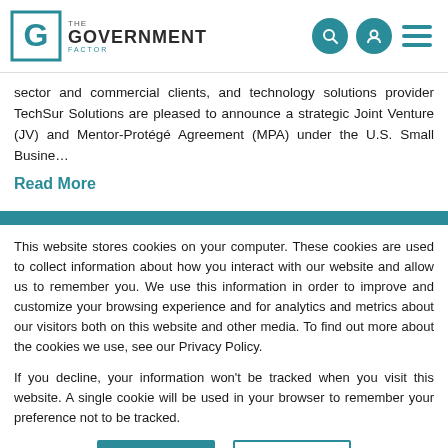The Government Factor - navigation header with logo, search, profile, and menu icons
sector and commercial clients, and technology solutions provider TechSur Solutions are pleased to announce a strategic Joint Venture (JV) and Mentor-Protégé Agreement (MPA) under the U.S. Small Busine…
Read More
This website stores cookies on your computer. These cookies are used to collect information about how you interact with our website and allow us to remember you. We use this information in order to improve and customize your browsing experience and for analytics and metrics about our visitors both on this website and other media. To find out more about the cookies we use, see our Privacy Policy.
If you decline, your information won't be tracked when you visit this website. A single cookie will be used in your browser to remember your preference not to be tracked.